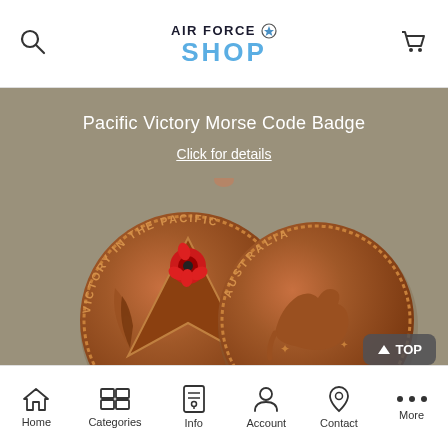AIR FORCE SHOP
Pacific Victory Morse Code Badge
Click for details
[Figure (photo): Two bronze/copper commemorative coins side by side. Left coin shows 'VICTORY IN THE PACIFIC' text around a V shape with a red poppy and wheat/laurel branches, dated 1945. Right coin shows a kangaroo with 'AUSTRALIA' text and '1945' date.]
Home  Categories  Info  Account  Contact  More